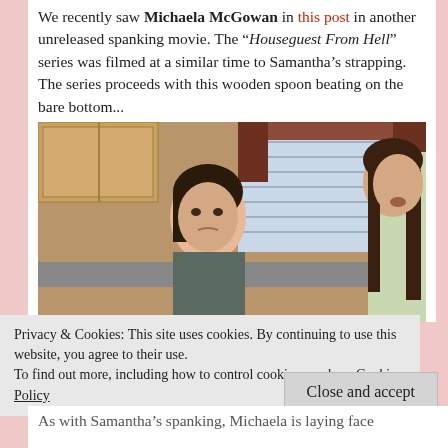We recently saw Michaela McGowan in this post in another unreleased spanking movie. The “Houseguest From Hell” series was filmed at a similar time to Samantha’s strapping. The series proceeds with this wooden spoon beating on the bare bottom...
[Figure (photo): Two women in a kitchen scene, one looking at the other.]
Privacy & Cookies: This site uses cookies. By continuing to use this website, you agree to their use.
To find out more, including how to control cookies, see here: Cookie Policy
As with Samantha’s spanking, Michaela is laying face